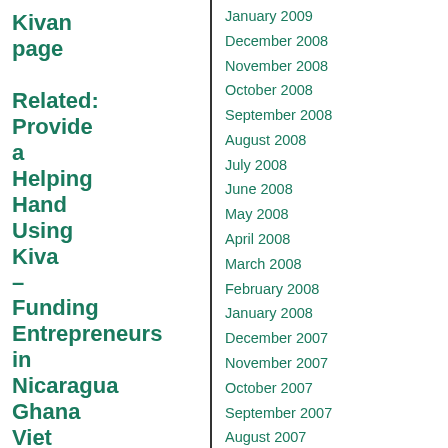Kivan page Related: Provide a Helping Hand Using Kiva – Funding Entrepreneurs in Nicaragua Ghana Viet Nam,
January 2009
December 2008
November 2008
October 2008
September 2008
August 2008
July 2008
June 2008
May 2008
April 2008
March 2008
February 2008
January 2008
December 2007
November 2007
October 2007
September 2007
August 2007
July 2007